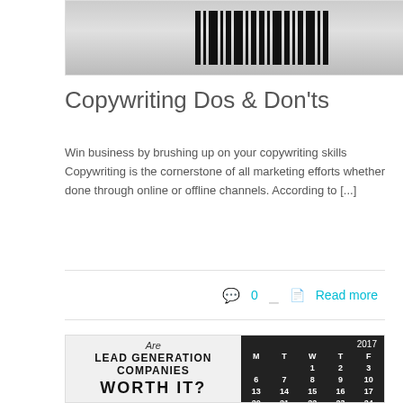[Figure (photo): Top cropped image showing a desk scene with phone, barcode-like black lines on white background, and office items]
Copywriting Dos & Don'ts
Win business by brushing up on your copywriting skills Copywriting is the cornerstone of all marketing efforts whether done through online or offline channels. According to [...]
0   Read more
[Figure (illustration): Composite image: left panel shows text 'Are LEAD GENERATION COMPANIES WORTH IT?' on light background; right panel shows a 2017 calendar on dark background with a plant]